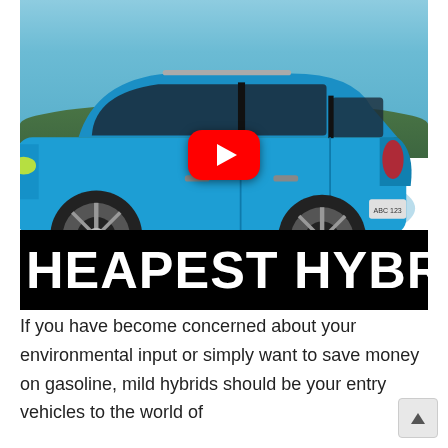[Figure (screenshot): A blue Toyota RAV4 Hybrid SUV driving on a road with hills in the background, shown as a YouTube video thumbnail with a red play button overlay. Below the car image is a black banner with white bold text reading 'HEAPEST HYBRID CAR' (partially cut off, implying 'CHEAPEST HYBRID CARS').]
If you have become concerned about your environmental input or simply want to save money on gasoline, mild hybrids should be your entry vehicles to the world of